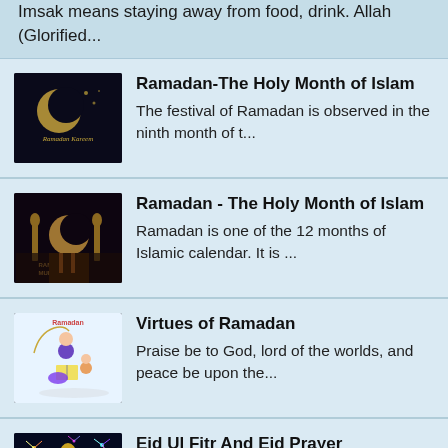Imsak means staying away from food, drink. Allah (Glorified...
Ramadan-The Holy Month of Islam
The festival of Ramadan is observed in the ninth month of t...
[Figure (photo): Dark background with golden crescent moon and Ramadan Kareem text]
Ramadan - The Holy Month of Islam
Ramadan is one of the 12 months of Islamic calendar. It is ...
[Figure (photo): Ramadan Mubarak decorative image with lanterns and crescent moon on dark background]
Virtues of Ramadan
Praise be to God, lord of the worlds, and peace be upon the...
[Figure (illustration): Illustration of a person and child reading Quran, Ramadan themed]
Eid Ul Fitr And Eid Prayer
The end of Ramadan is marked by Eid ul Fitr. Ramadan may be...
[Figure (photo): Mosque with fireworks at night, Eid themed]
Fasting in the Holy month of Ramadan.